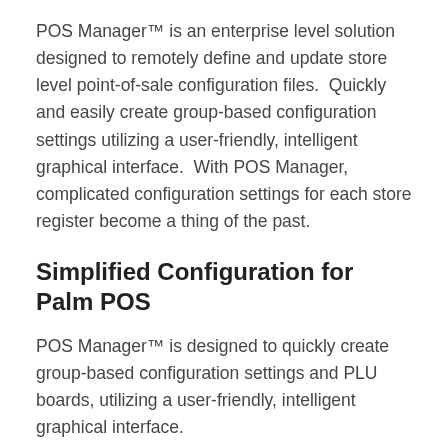POS Manager™ is an enterprise level solution designed to remotely define and update store level point-of-sale configuration files.  Quickly and easily create group-based configuration settings utilizing a user-friendly, intelligent graphical interface.  With POS Manager, complicated configuration settings for each store register become a thing of the past.
Simplified Configuration for Palm POS
POS Manager™ is designed to quickly create group-based configuration settings and PLU boards, utilizing a user-friendly, intelligent graphical interface.